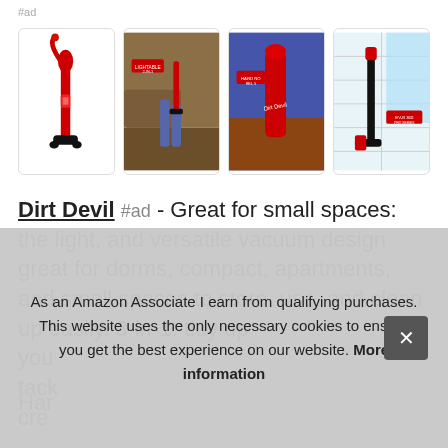#ad
[Figure (photo): Four product images of red Dirt Devil vacuum cleaners in a horizontal row with rounded-corner card borders]
Dirt Devil #ad - Great for small spaces: the light, and versatile vacuum design great for dorms, compact, apartments, and small spaces to store, use, and clean up easily. 3-in-1: tidy up you... tack... cre...
Har...
As an Amazon Associate I earn from qualifying purchases. This website uses the only necessary cookies to ensure you get the best experience on our website. More information